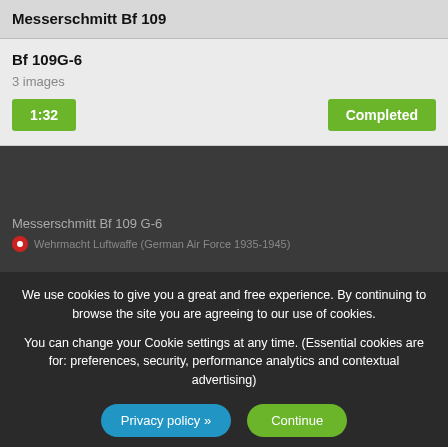Messerschmitt Bf 109
Bf 109G-6
3 images
1:32
Completed
Messerschmitt Bf 109 G-6
Wehrmacht Luftwaffe (German Air Force 1935-1945)
We use cookies to give you a great and free experience. By continuing to browse the site you are agreeing to our use of cookies.

You can change your Cookie settings at any time. (Essential cookies are for: preferences, security, performance analytics and contextual advertising)
Privacy policy »
Continue